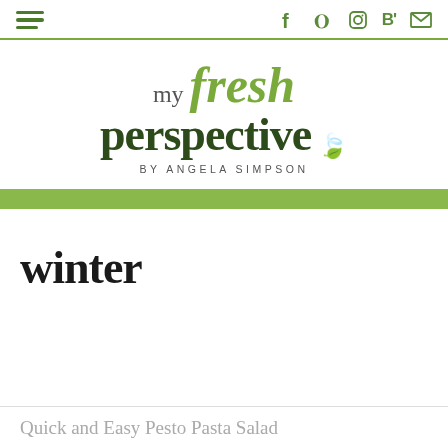my fresh perspective by angela simpson — navigation and social icons header
[Figure (logo): My Fresh Perspective by Angela Simpson logo — 'my' in serif grey, 'fresh' in large green italic script, 'perspective' in large dark green bold serif, with a leaf icon, and 'BY ANGELA SIMPSON' in small uppercase letterspaced text below]
winter
Quick and Easy Pesto Pasta Salad